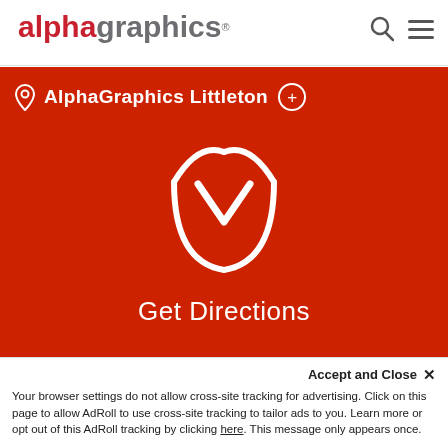[Figure (logo): AlphaGraphics logo with red 'alpha' and grey 'graphics' text]
[Figure (screenshot): Header icons: search (magnifying glass) and hamburger menu]
[Figure (screenshot): Red banner with location pin, AlphaGraphics Littleton, plus circle, shield logo, and Get Directions text]
AlphaGraphics Littleton
Get Directions
What our Customers sa...
Accept and Close ✕
Your browser settings do not allow cross-site tracking for advertising. Click on this page to allow AdRoll to use cross-site tracking to tailor ads to you. Learn more or opt out of this AdRoll tracking by clicking here. This message only appears once.